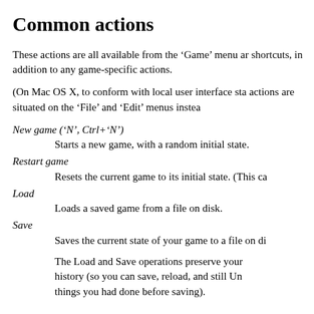Common actions
These actions are all available from the ‘Game’ menu ar shortcuts, in addition to any game-specific actions.
(On Mac OS X, to conform with local user interface sta actions are situated on the ‘File’ and ‘Edit’ menus instea
New game (‘N’, Ctrl+‘N’) — Starts a new game, with a random initial state.
Restart game — Resets the current game to its initial state. (This ca
Load — Loads a saved game from a file on disk.
Save — Saves the current state of your game to a file on di
The Load and Save operations preserve your history (so you can save, reload, and still Un things you had done before saving).